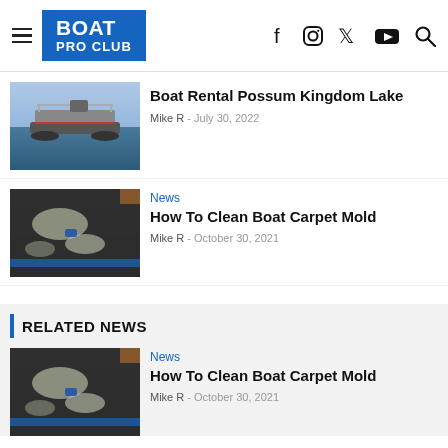BOAT PRO CLUB
[Figure (photo): Pontoon boat on a lake at sunset]
Boat Rental Possum Kingdom Lake
Mike R  -  July 30, 2022
[Figure (photo): Close-up of mold on boat carpet interior]
News
How To Clean Boat Carpet Mold
Mike R  -  October 30, 2021
RELATED NEWS
[Figure (photo): Close-up of mold on boat carpet interior]
News
How To Clean Boat Carpet Mold
Mike R  -  October 30, 2021